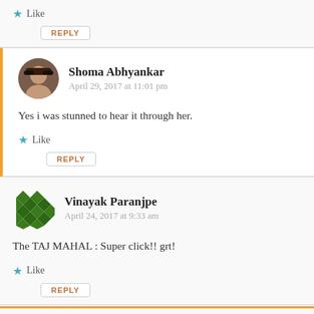Like
REPLY
Shoma Abhyankar
April 29, 2017 at 11:01 pm
Yes i was stunned to hear it through her.
Like
REPLY
Vinayak Paranjpe
April 24, 2017 at 9:33 am
The TAJ MAHAL : Super click!! grt!
Like
REPLY